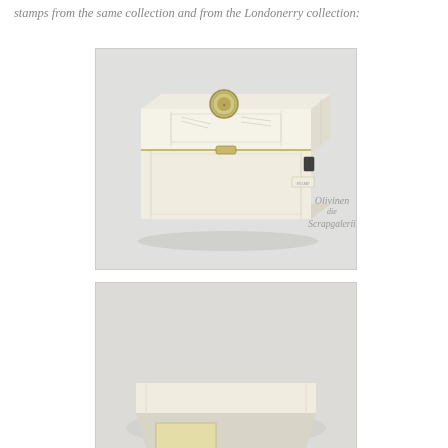stamps from the same collection and from the Londonerry collection:
[Figure (photo): A decorative rectangular box with ivory/cream colored panels, ornate engravings, a circular medallion on the lid, and brass clasp hardware. The box appears to be an antique stamp or letter box. A watermark reading 'Olivinen die Scrapgalerii' appears in the lower right corner of the photo.]
[Figure (photo): Partial view of another antique object, light-colored, partially visible at the bottom of the page.]